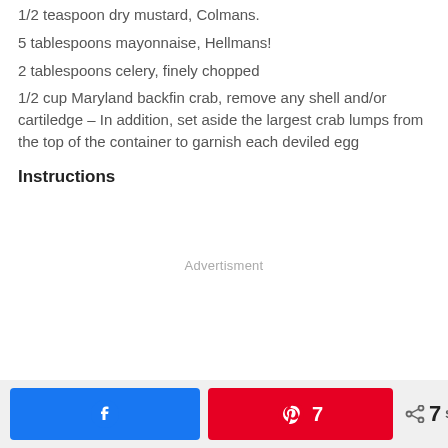1/2 teaspoon dry mustard, Colmans.
5 tablespoons mayonnaise, Hellmans!
2 tablespoons celery, finely chopped
1/2 cup Maryland backfin crab, remove any shell and/or cartiledge – In addition, set aside the largest crab lumps from the top of the container to garnish each deviled egg
Instructions
Advertisment
7 SHARES